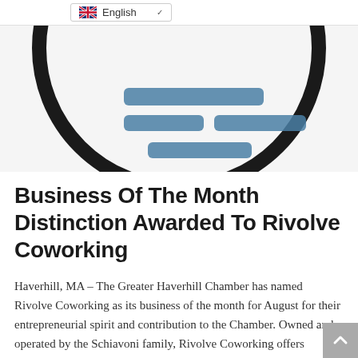English
[Figure (illustration): A circular logo/illustration with a dark thick circle border containing blue horizontal bar elements resembling a stylized face or document icon, on a light gray background.]
Business Of The Month Distinction Awarded To Rivolve Coworking
Haverhill, MA – The Greater Haverhill Chamber has named Rivolve Coworking as its business of the month for August for their entrepreneurial spirit and contribution to the Chamber. Owned and operated by the Schiavoni family, Rivolve Coworking offers alternatives to traditional office space where individuals or small